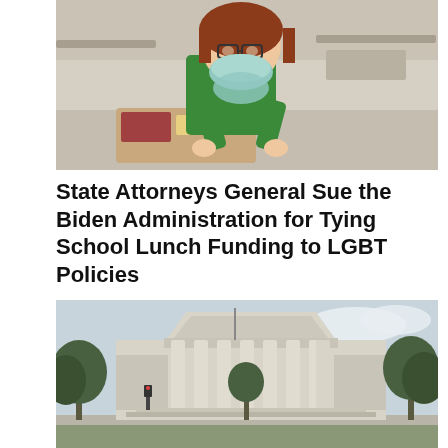[Figure (photo): A young girl with red hair and glasses, wearing a green t-shirt and a blue face mask around her chin, sitting at a school cafeteria table with a school lunch tray in front of her.]
State Attorneys General Sue the Biden Administration for Tying School Lunch Funding to LGBT Policies
[Figure (photo): Exterior of the United States Supreme Court building in Washington D.C., with columns and trees in the foreground.]